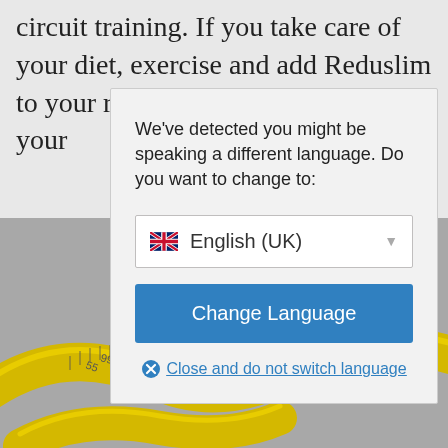circuit training. If you take care of your diet, exercise and add Reduslim to your routine you can … your …
[Figure (screenshot): A language-switch modal dialog overlaying a webpage. The modal contains the text 'We've detected you might be speaking a different language. Do you want to change to:', a dropdown showing 'English (UK)' with a UK flag icon, a blue 'Change Language' button, and a 'Close and do not switch language' link with an X icon.]
We've detected you might be speaking a different language. Do you want to change to:
English (UK)
Change Language
Close and do not switch language